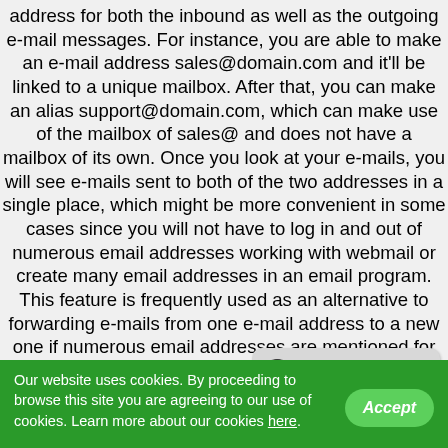address for both the inbound as well as the outgoing e-mail messages. For instance, you are able to make an e-mail address sales@domain.com and it'll be linked to a unique mailbox. After that, you can make an alias support@domain.com, which can make use of the mailbox of sales@ and does not have a mailbox of its own. Once you look at your e-mails, you will see e-mails sent to both of the two addresses in a single place, which might be more convenient in some cases since you will not have to log in and out of numerous email addresses working with webmail or create many email addresses in an email program. This feature is frequently used as an alternative to forwarding e-mails from one e-mail address to a new one if numerous email addresses are mentioned for contact on a web site.
[Figure (other): Live Chat speech bubble button in grey]
[Figure (other): White input/search bar]
Our website uses cookies. By proceeding to browse this site you are agreeing to our use of cookies. Learn more about our cookies here.